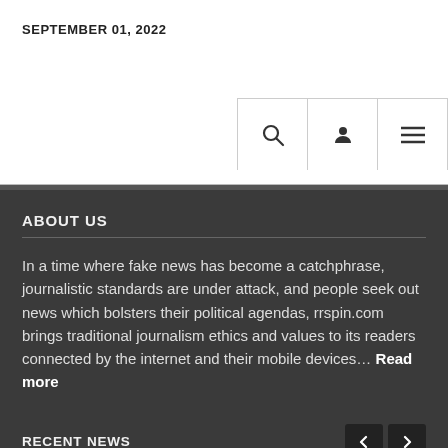SEPTEMBER 01, 2022
ABOUT US
In a time where fake news has become a catchphrase, journalistic standards are under attack, and people seek out news which bolsters their political agendas, rrspin.com brings traditional journalism ethics and values to its readers connected by the internet and their mobile devices… Read more
RECENT NEWS